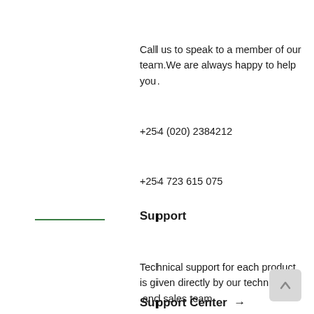Call us to speak to a member of our team.We are always happy to help you.
+254 (020) 2384212
+254 723 615 075
Support
Technical support for each product is given directly by our technical  and sales team
Support Center  →